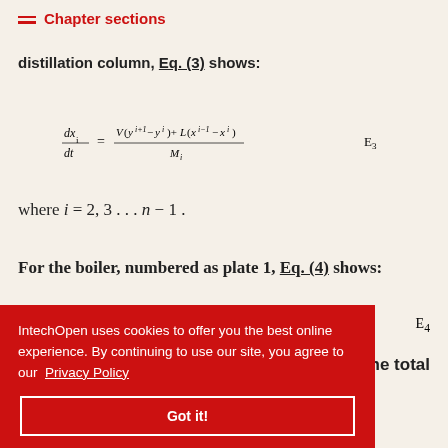Chapter sections
distillation column, Eq. (3) shows:
where i = 2, 3 ... n − 1 .
For the boiler, numbered as plate 1, Eq. (4) shows:
the total
IntechOpen uses cookies to offer you the best online experience. By continuing to use our site, you agree to our Privacy Policy
Got it!
2.1.1 Distillation column state-space model